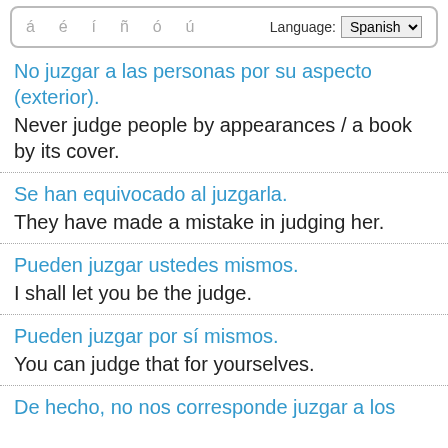[Figure (screenshot): Language input widget showing special Spanish characters (á é í ñ ó ú) and a Language dropdown set to Spanish]
No juzgar a las personas por su aspecto (exterior).
Never judge people by appearances / a book by its cover.
Se han equivocado al juzgarla.
They have made a mistake in judging her.
Pueden juzgar ustedes mismos.
I shall let you be the judge.
Pueden juzgar por sí mismos.
You can judge that for yourselves.
De hecho, no nos corresponde juzgar a los